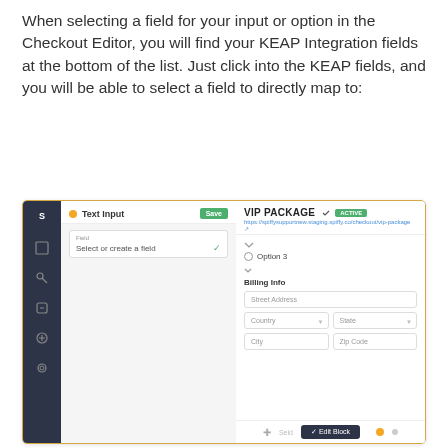When selecting a field for your input or option in the Checkout Editor, you will find your KEAP Integration fields at the bottom of the list. Just click into the KEAP fields, and you will be able to select a field to directly map to:
[Figure (screenshot): Screenshot of a checkout editor interface showing a left dark sidebar with 'S' icon and other icons, a left panel with 'Text Input' header and 'Select or create a field' dropdown, and a right panel showing 'VIP PACKAGE' with ACTIVE badge, a URL, Option 3 radio button, Billing Info section with fields for Street Address, Country, State, City, Zip Code, and an Edit Block button at the bottom.]